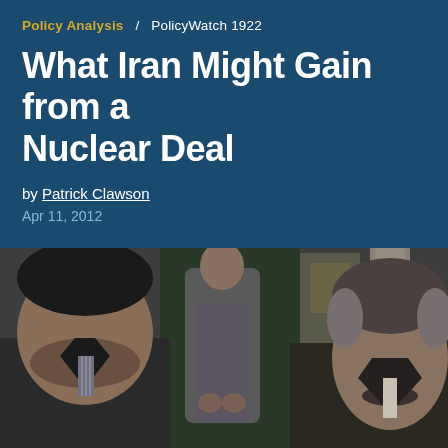Policy Analysis / PolicyWatch 1922
What Iran Might Gain from a Nuclear Deal
by Patrick Clawson
Apr 11, 2012
[Figure (photo): Two men in suits seated, photographed at an event. A third man stands in the background wearing a grey suit. The two seated men appear to be Middle Eastern officials or diplomats.]